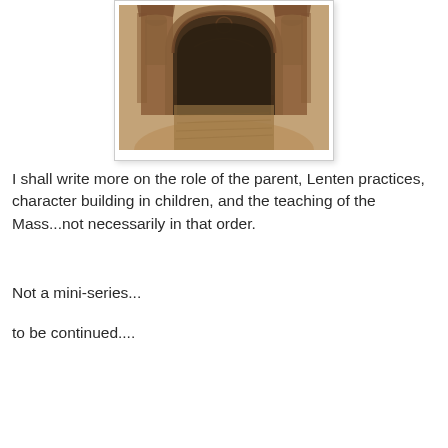[Figure (photo): Sepia-toned photograph of a Gothic cathedral doorway/arch entrance with ornate stone carvings, statues in niches on either side, and a gravel or stone path leading through the arched opening.]
I shall write more on the role of the parent, Lenten practices, character building in children, and the teaching of the Mass...not necessarily in that order.
Not a mini-series...
to be continued....